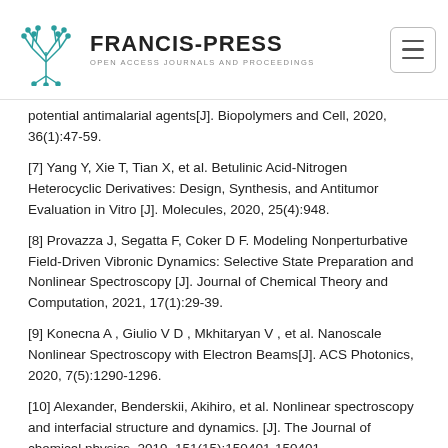FRANCIS-PRESS | OPEN ACCESS JOURNALS AND PROCEEDINGS
potential antimalarial agents[J]. Biopolymers and Cell, 2020, 36(1):47-59.
[7] Yang Y, Xie T, Tian X, et al. Betulinic Acid-Nitrogen Heterocyclic Derivatives: Design, Synthesis, and Antitumor Evaluation in Vitro [J]. Molecules, 2020, 25(4):948.
[8] Provazza J, Segatta F, Coker D F. Modeling Nonperturbative Field-Driven Vibronic Dynamics: Selective State Preparation and Nonlinear Spectroscopy [J]. Journal of Chemical Theory and Computation, 2021, 17(1):29-39.
[9] Konecna A , Giulio V D , Mkhitaryan V , et al. Nanoscale Nonlinear Spectroscopy with Electron Beams[J]. ACS Photonics, 2020, 7(5):1290-1296.
[10] Alexander, Benderskii, Akihiro, et al. Nonlinear spectroscopy and interfacial structure and dynamics. [J]. The Journal of chemical physics, 2019, 151(15):150401-150401.
[11] White M S. Nonlinear Impedance Spectroscopy of Organic MIS Capacitors and Planar Heterojunction Diodes [J]. ECS Meeting Abstracts, 2020, MA2020-01(51):2827-2827.